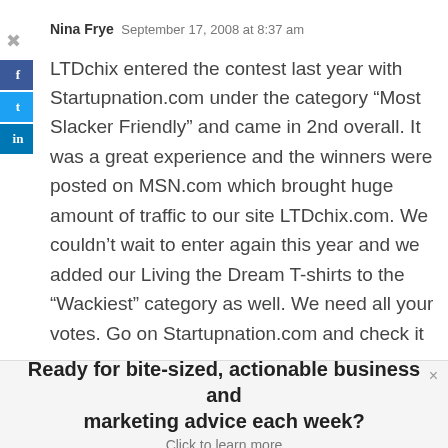Nina Frye  September 17, 2008 at 8:37 am
LTDchix entered the contest last year with Startupnation.com under the category “Most Slacker Friendly” and came in 2nd overall. It was a great experience and the winners were posted on MSN.com which brought huge amount of traffic to our site LTDchix.com. We couldn’t wait to enter again this year and we added our Living the Dream T-shirts to the “Wackiest” category as well. We need all your votes. Go on Startupnation.com and check it
Ready for bite-sized, actionable business and marketing advice each week? Click to learn more